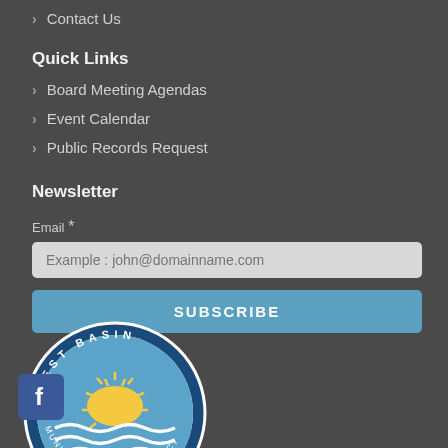Contact Us
Quick Links
Board Meeting Agendas
Event Calendar
Public Records Request
Newsletter
Email *
Example : john@domainname.com
SUBSCRIBE
[Figure (logo): West Basin Municipal Water District circular logo with sun and waves]